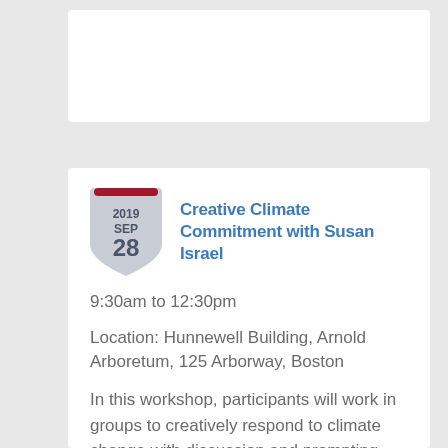Creative Climate Commitment with Susan Israel
9:30am to 12:30pm
Location: Hunnewell Building, Arnold Arboretum, 125 Arborway, Boston
In this workshop, participants will work in groups to creatively respond to climate change with discussion and prompting from Susan Israel, architect, artist, climate communicator, and social